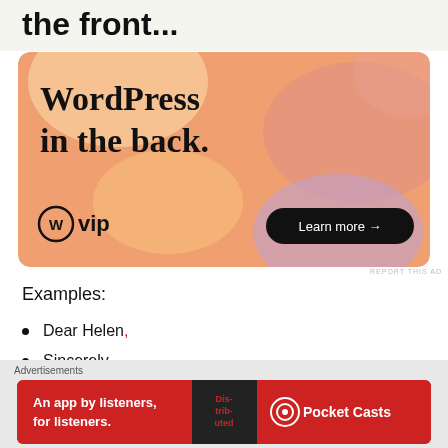the front...
[Figure (illustration): WordPress VIP advertisement with colorful bubble shapes on orange background. Text reads 'WordPress in the back.' with WordPress VIP logo and 'Learn more →' button.]
REPORT THIS AD
Examples:
Dear Helen,
Sincerely,
Advertisements
[Figure (illustration): Pocket Casts advertisement on red background. Text reads 'An app by listeners, for listeners.' with phone image and Pocket Casts logo.]